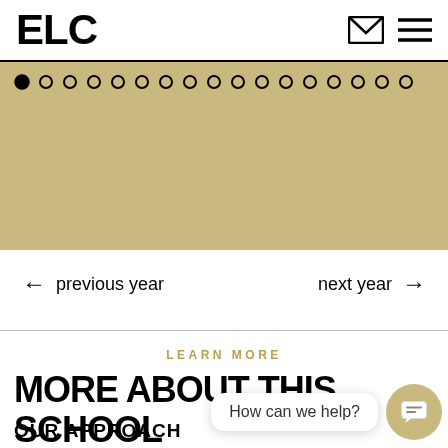ELC
[Figure (other): Gold/tan colored slider area with navigation dots (one filled, rest empty circles) arranged in two rows]
← previous year    next year →
LEARN MORE
MORE ABOUT THIS SCHOOL
OUR APPROACH
How can we help?